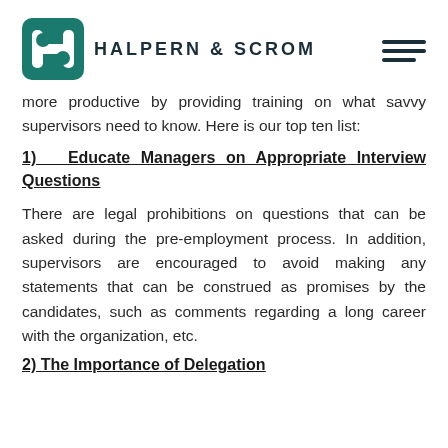HALPERN & SCROM
more productive by providing training on what savvy supervisors need to know. Here is our top ten list:
1)  Educate Managers on Appropriate Interview Questions
There are legal prohibitions on questions that can be asked during the pre-employment process. In addition, supervisors are encouraged to avoid making any statements that can be construed as promises by the candidates, such as comments regarding a long career with the organization, etc.
2) The Importance of Delegation